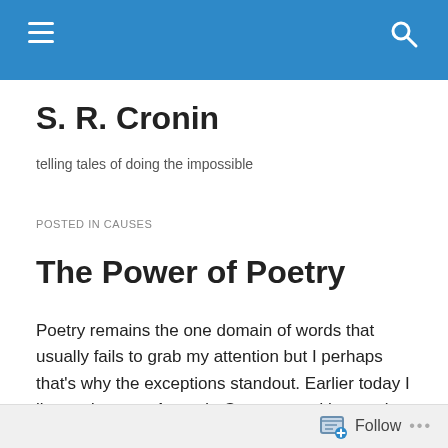S. R. Cronin — blog header navigation bar
S. R. Cronin
telling tales of doing the impossible
POSTED IN CAUSES
The Power of Poetry
Poetry remains the one domain of words that usually fails to grab my attention but I perhaps that's why the exceptions standout. Earlier today I listened to poet Amanda Gorman read her work ‘The Hill We Climb’ at
Follow …